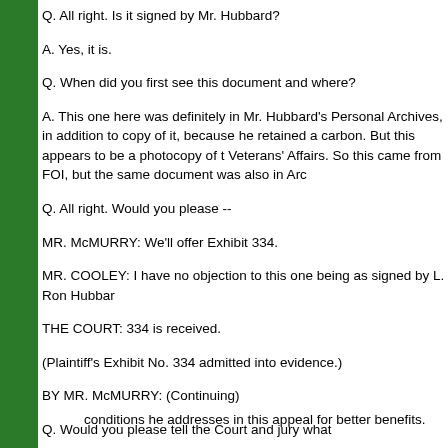Q. All right. Is it signed by Mr. Hubbard?
A. Yes, it is.
Q. When did you first see this document and where?
A. This one here was definitely in Mr. Hubbard's Personal Archives, in addition to copy of it, because he retained a carbon. But this appears to be a photocopy of t Veterans' Affairs. So this came from FOI, but the same document was also in Arc
Q. All right. Would you please --
MR. McMURRY: We'll offer Exhibit 334.
MR. COOLEY: I have no objection to this one being as signed by L. Ron Hubbar
THE COURT: 334 is received.
(Plaintiff's Exhibit No. 334 admitted into evidence.)
BY MR. McMURRY: (Continuing)
Q. Would you please tell the Court and jury what
conditions he addresses in this appeal for better benefits.